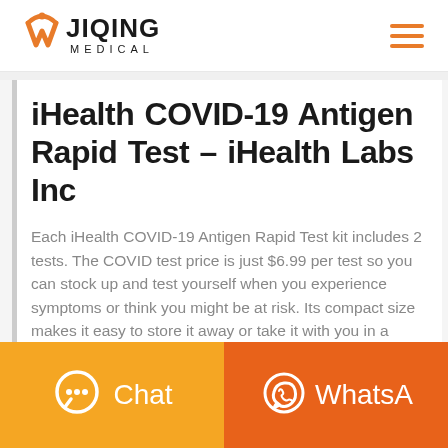[Figure (logo): Jiqing Medical logo with orange W icon and text JIQING MEDICAL]
iHealth COVID-19 Antigen Rapid Test – iHealth Labs Inc
Each iHealth COVID-19 Antigen Rapid Test kit includes 2 tests. The COVID test price is just $6.99 per test so you can stock up and test yourself when you experience symptoms or think you might be at risk. Its compact size makes it easy to store it away or take it with you in a travel bag.
[Figure (infographic): Bottom navigation buttons: orange Chat button with speech bubble icon on the left, and darker orange WhatsApp button with WhatsApp icon on the right]